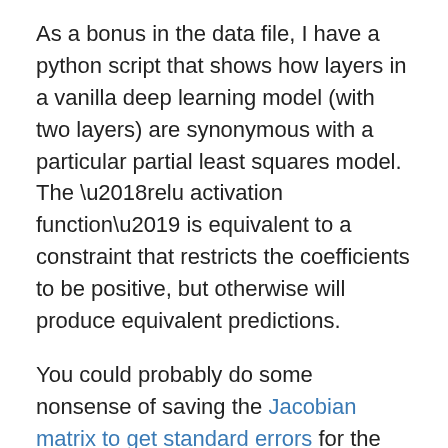As a bonus in the data file, I have a python script that shows how layers in a vanilla deep learning model (with two layers) are synonymous with a particular partial least squares model. The ‘relu activation function’ is equivalent to a constraint that restricts the coefficients to be positive, but otherwise will produce equivalent predictions.
You could probably do some nonsense of saving the Jacobian matrix to get standard errors for the latent layers in the neural network if you really wanted to.
To end, for those who are really interested in deep learning models, I think a better analogy is that they are just a way to specify and estimate a set of simultaneous equations. Understanding the nature of those equations will help you relate how deep learning is similar to regression equations you are more familiar with. The